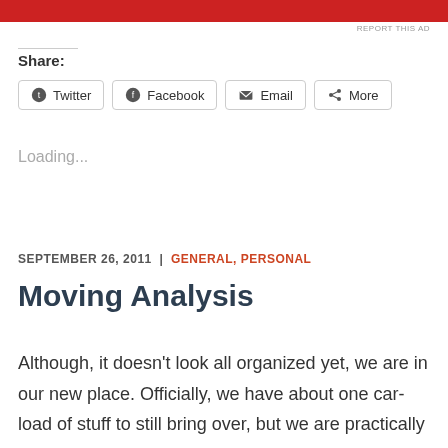[Figure (other): Red advertisement banner at top of page]
REPORT THIS AD
Share:
Twitter  Facebook  Email  More
Loading...
SEPTEMBER 26, 2011  |  GENERAL, PERSONAL
Moving Analysis
Although, it doesn't look all organized yet, we are in our new place. Officially, we have about one car-load of stuff to still bring over, but we are practically done. For those keeping track, yes, this